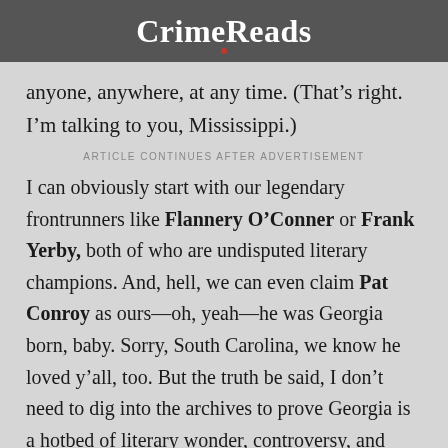CrimeReads
anyone, anywhere, at any time. (That’s right. I’m talking to you, Mississippi.)
ARTICLE CONTINUES AFTER ADVERTISEMENT
I can obviously start with our legendary frontrunners like Flannery O’Conner or Frank Yerby, both of who are undisputed literary champions. And, hell, we can even claim Pat Conroy as ours—oh, yeah—he was Georgia born, baby. Sorry, South Carolina, we know he loved y’all, too. But the truth be said, I don’t need to dig into the archives to prove Georgia is a hotbed of literary wonder, controversy, and excitement. I can